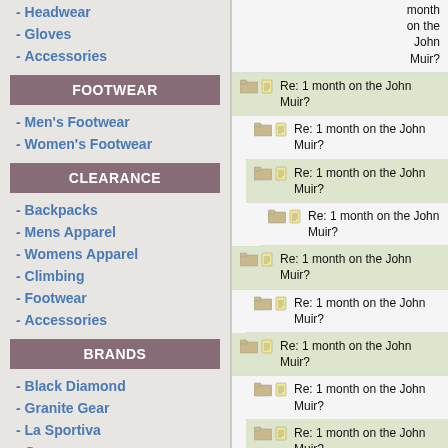- Headwear
- Gloves
- Accessories
FOOTWEAR
- Men's Footwear
- Women's Footwear
CLEARANCE
- Backpacks
- Mens Apparel
- Womens Apparel
- Climbing
- Footwear
- Accessories
BRANDS
- Black Diamond
- Granite Gear
- La Sportiva
- Osprey
- Smartwool
Re: 1 month on the John Muir? (partial, top)
Re: 1 month on the John Muir?
Re: 1 month on the John Muir?
Re: 1 month on the John Muir?
Re: 1 month on the John Muir?
Re: 1 month on the John Muir?
Re: 1 month on the John Muir?
Re: 1 month on the John Muir?
Re: 1 month on the John Muir?
Re: 1 month on the John Muir?